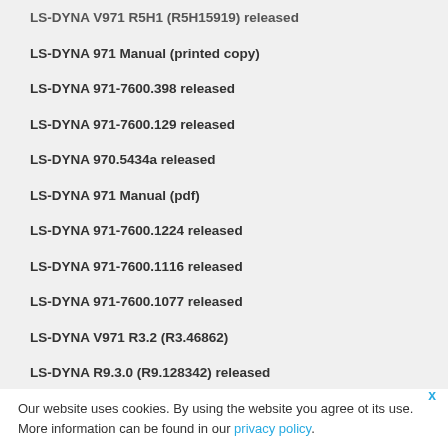LS-DYNA V971 R5H1 (R5H15919) released
LS-DYNA 971 Manual (printed copy)
LS-DYNA 971-7600.398 released
LS-DYNA 971-7600.129 released
LS-DYNA 970.5434a released
LS-DYNA 971 Manual (pdf)
LS-DYNA 971-7600.1224 released
LS-DYNA 971-7600.1116 released
LS-DYNA 971-7600.1077 released
LS-DYNA V971 R3.2 (R3.46862)
LS-DYNA R9.3.0 (R9.128342) released
Our website uses cookies. By using the website you agree ot its use. More information can be found in our privacy policy.